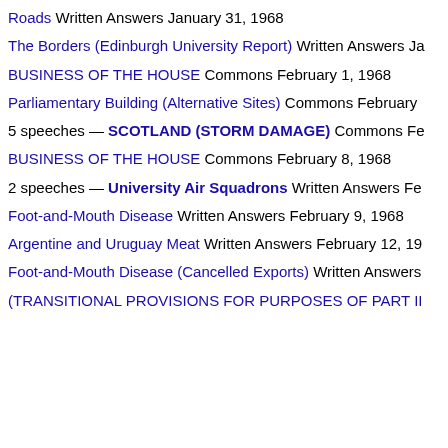Roads Written Answers January 31, 1968
The Borders (Edinburgh University Report) Written Answers Ja…
BUSINESS OF THE HOUSE Commons February 1, 1968
Parliamentary Building (Alternative Sites) Commons February…
5 speeches — SCOTLAND (STORM DAMAGE) Commons Fe…
BUSINESS OF THE HOUSE Commons February 8, 1968
2 speeches — University Air Squadrons Written Answers Fe…
Foot-and-Mouth Disease Written Answers February 9, 1968
Argentine and Uruguay Meat Written Answers February 12, 19…
Foot-and-Mouth Disease (Cancelled Exports) Written Answers…
(TRANSITIONAL PROVISIONS FOR PURPOSES OF PART II…